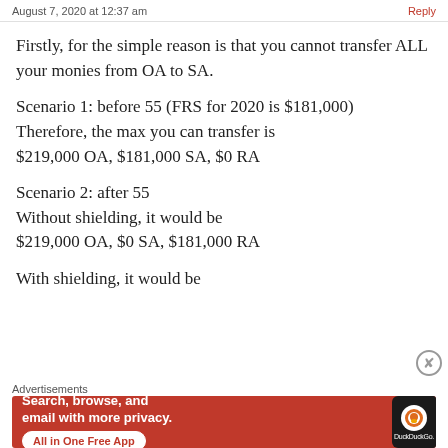August 7, 2020 at 12:37 am
Firstly, for the simple reason is that you cannot transfer ALL your monies from OA to SA.
Scenario 1: before 55 (FRS for 2020 is $181,000)
Therefore, the max you can transfer is
$219,000 OA, $181,000 SA, $0 RA
Scenario 2: after 55
Without shielding, it would be
$219,000 OA, $0 SA, $181,000 RA
With shielding, it would be
[Figure (infographic): DuckDuckGo advertisement banner: orange background with text 'Search, browse, and email with more privacy. All in One Free App' and DuckDuckGo logo on a smartphone mockup]